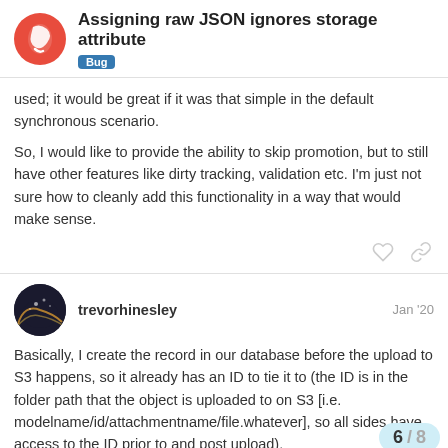Assigning raw JSON ignores storage attribute — Bug
used; it would be great if it was that simple in the default synchronous scenario.
So, I would like to provide the ability to skip promotion, but to still have other features like dirty tracking, validation etc. I'm just not sure how to cleanly add this functionality in a way that would make sense.
trevorhinesley  Jan '20
Basically, I create the record in our database before the upload to S3 happens, so it already has an ID to tie it to (the ID is in the folder path that the object is uploaded to on S3 [i.e. modelname/id/attachmentname/file.whatever], so all sides have access to the ID prior to and post upload).
6 / 8